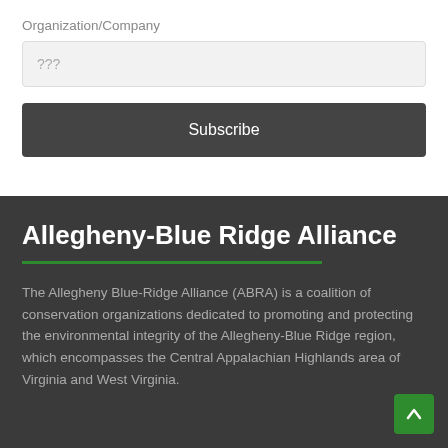Organization/Company
???
Subscribe
Allegheny-Blue Ridge Alliance
The Allegheny Blue-Ridge Alliance (ABRA) is a coalition of conservation organizations dedicated to promoting and protecting the environmental integrity of the Allegheny-Blue Ridge region, which encompasses the Central Appalachian Highlands area of Virginia and West Virginia.